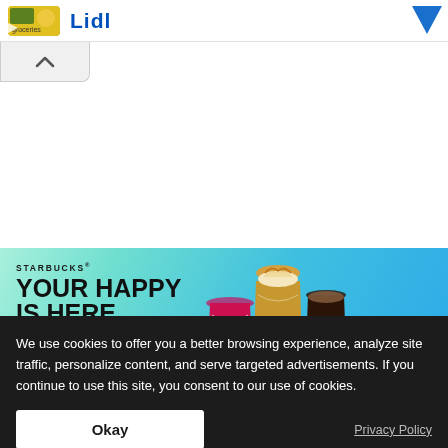[Figure (screenshot): Lidl advertisement banner at top of webpage with yellow/green thumbnail and blue Lidl logo]
[Figure (screenshot): Starbucks advertisement: 'YOUR HAPPY IS HERE - Find your new summer favorite today.' with three drinks and ORDER NOW button. © 2022 Starbucks Corporation.]
ASIAN AMERICANS IN ENTERTAINMENT
We use cookies to offer you a better browsing experience, analyze site traffic, personalize content, and serve targeted advertisements. If you continue to use this site, you consent to our use of cookies.
Okay
Privacy Policy